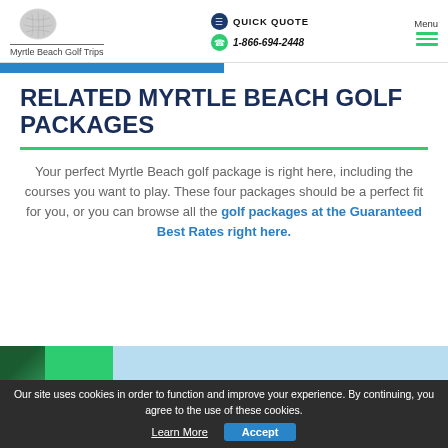Myrtle Beach Golf Trips | QUICK QUOTE | 1-866-694-2448 | Menu
RELATED MYRTLE BEACH GOLF PACKAGES
Your perfect Myrtle Beach golf package is right here, including the courses you want to play. These four packages should be a perfect fit for you, or you can browse all the golf packages at the Guaranteed Best Rates right here.
Our site uses cookies in order to function and improve your experience. By continuing, you agree to the use of these cookies. Learn More  Accept